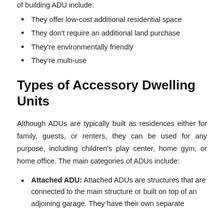of building ADU include:
They offer low-cost additional residential space
They don't require an additional land purchase
They're environmentally friendly
They're multi-use
Types of Accessory Dwelling Units
Although ADUs are typically built as residences either for family, guests, or renters, they can be used for any purpose, including children's play center, home gym, or home office. The main categories of ADUs include:
Attached ADU: Attached ADUs are structures that are connected to the main structure or built on top of an adjoining garage. They have their own separate